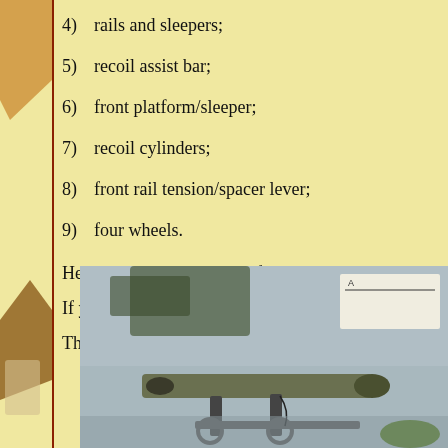4)  rails and sleepers;
5)  recoil assist bar;
6)  front platform/sleeper;
7)  recoil cylinders;
8)  front rail tension/spacer lever;
9)  four wheels.
He says that he has some of those parts a
If you want to make a model, then the pa
The following pic from the 1/72nd Italia
[Figure (photo): Photograph of a model artillery gun, showing a cylindrical barrel on a mount/carriage, displayed on a table with a label card partially visible in the background.]